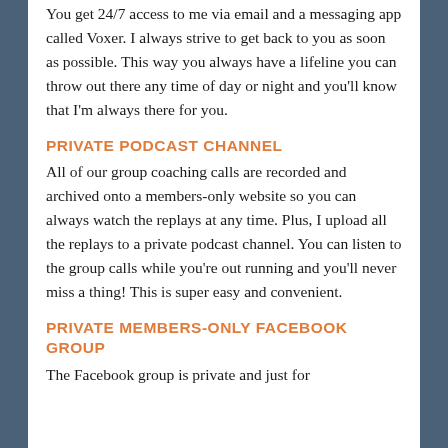You get 24/7 access to me via email and a messaging app called Voxer. I always strive to get back to you as soon as possible. This way you always have a lifeline you can throw out there any time of day or night and you'll know that I'm always there for you.
PRIVATE PODCAST CHANNEL
All of our group coaching calls are recorded and archived onto a members-only website so you can always watch the replays at any time. Plus, I upload all the replays to a private podcast channel. You can listen to the group calls while you're out running and you'll never miss a thing! This is super easy and convenient.
PRIVATE MEMBERS-ONLY FACEBOOK GROUP
The Facebook group is private and just for